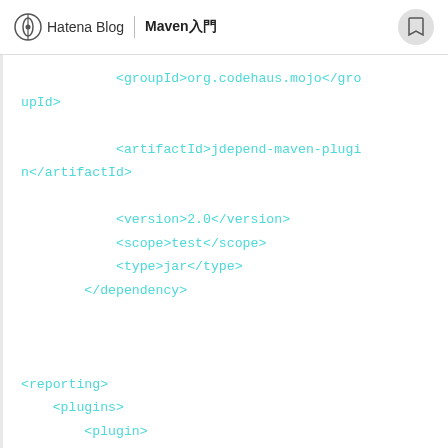Hatena Blog | Maven入門
<groupId>org.codehaus.mojo</groupId>
            <artifactId>jdepend-maven-plugin</artifactId>
            <version>2.0</version>
            <scope>test</scope>
            <type>jar</type>
        </dependency>


<reporting>
    <plugins>
        <plugin>
            <groupId>org.codehaus.mojo